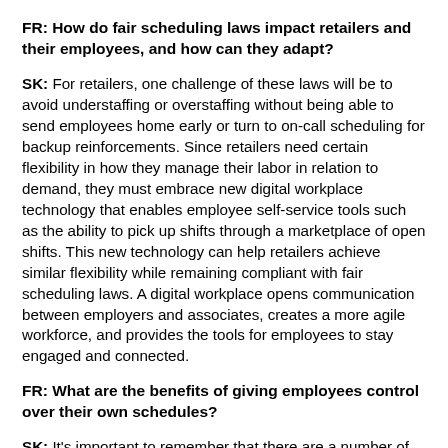FR: How do fair scheduling laws impact retailers and their employees, and how can they adapt?
SK: For retailers, one challenge of these laws will be to avoid understaffing or overstaffing without being able to send employees home early or turn to on-call scheduling for backup reinforcements. Since retailers need certain flexibility in how they manage their labor in relation to demand, they must embrace new digital workplace technology that enables employee self-service tools such as the ability to pick up shifts through a marketplace of open shifts. This new technology can help retailers achieve similar flexibility while remaining compliant with fair scheduling laws. A digital workplace opens communication between employers and associates, creates a more agile workforce, and provides the tools for employees to stay engaged and connected.
FR: What are the benefits of giving employees control over their own schedules?
SK: It's important to remember that there are a number of benefits for both retail employers and employees when associates have more control over their schedules. With the right technology,